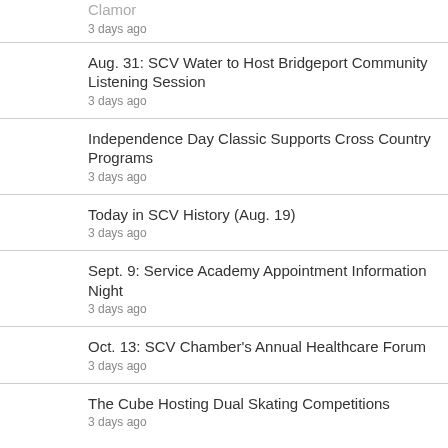Clamor
3 days ago
Aug. 31: SCV Water to Host Bridgeport Community Listening Session
3 days ago
Independence Day Classic Supports Cross Country Programs
3 days ago
Today in SCV History (Aug. 19)
3 days ago
Sept. 9: Service Academy Appointment Information Night
3 days ago
Oct. 13: SCV Chamber's Annual Healthcare Forum
3 days ago
The Cube Hosting Dual Skating Competitions
3 days ago